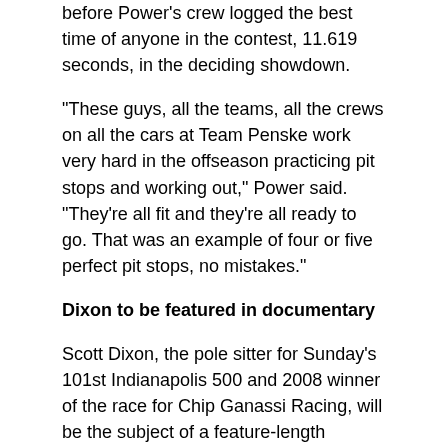before Power's crew logged the best time of anyone in the contest, 11.619 seconds, in the deciding showdown.
“These guys, all the teams, all the crews on all the cars at Team Penske work very hard in the offseason practicing pit stops and working out,” Power said. “They’re all fit and they’re all ready to go. That was an example of four or five perfect pit stops, no mistakes.”
Dixon to be featured in documentary
Scott Dixon, the pole sitter for Sunday’s 101st Indianapolis 500 and 2008 winner of the race for Chip Ganassi Racing, will be the subject of a feature-length documentary co-produced by GFC Films and United Pictures Home Entertainment.
The documentary, yet untitled and scheduled for release in 2018, will focus on Dixon’s dedication, success and will to defy personal limitations in his racing career. Dixon has 40 career Indy car wins, fourth on the all-time list, and is a four-time Verizon IndyCar Series champion.